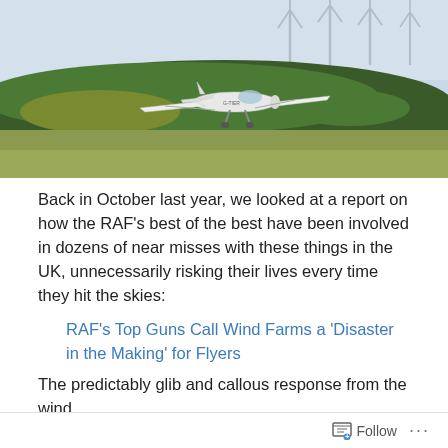[Figure (photo): A small white light aircraft flying low with wind turbines and a forested hillside in the background under a hazy sky.]
Back in October last year, we looked at a report on how the RAF's best of the best have been involved in dozens of near misses with these things in the UK, unnecessarily risking their lives every time they hit the skies:
RAF's Top Guns Call Wind Farms a 'Disaster in the Making' for Flyers
The predictably glib and callous response from the wind
Follow ...